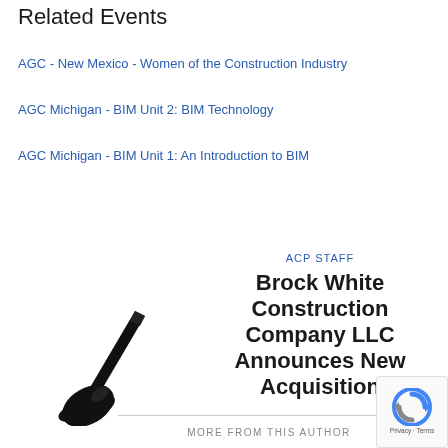Related Events
AGC - New Mexico - Women of the Construction Industry
AGC Michigan - BIM Unit 2: BIM Technology
AGC Michigan - BIM Unit 1: An Introduction to BIM
ACP STAFF
Brock White Construction Company LLC Announces New Acquisition
[Figure (illustration): Black silhouette illustration of a hand holding a pen/quill writing]
MORE FROM THIS AUTHOR